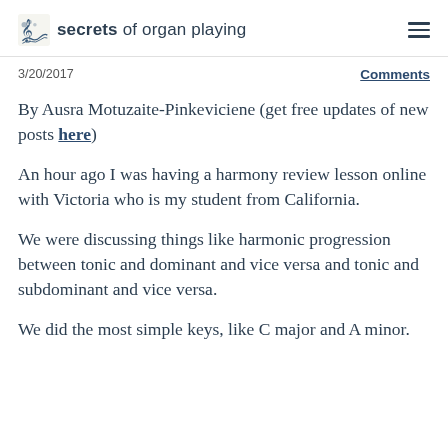secrets of organ playing
3/20/2017
Comments
By Ausra Motuzaite-Pinkeviciene (get free updates of new posts here)
An hour ago I was having a harmony review lesson online with Victoria who is my student from California.
We were discussing things like harmonic progression between tonic and dominant and vice versa and tonic and subdominant and vice versa.
We did the most simple keys, like C major and A minor.